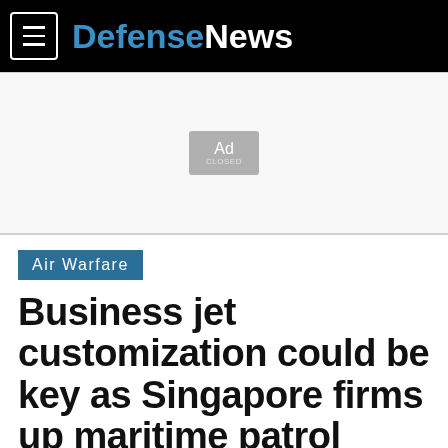DefenseNews
[Figure (other): Advertisement placeholder box labeled 'Ad']
Air Warfare
Business jet customization could be key as Singapore firms up maritime patrol requirement